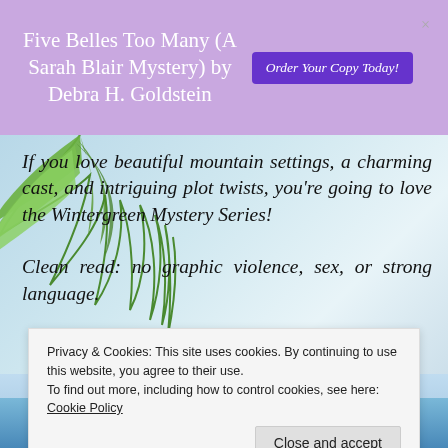Five Belles Too Many (A Sarah Blair Mystery) by Debra H. Goldstein
If you love beautiful mountain settings, a charming cast, and intriguing plot twists, you're going to love the Wintergreen Mystery Series! Clean read: no graphic violence, sex, or strong language.
Author Links
Privacy & Cookies: This site uses cookies. By continuing to use this website, you agree to their use.
To find out more, including how to control cookies, see here:
Cookie Policy
MOUNTAIN